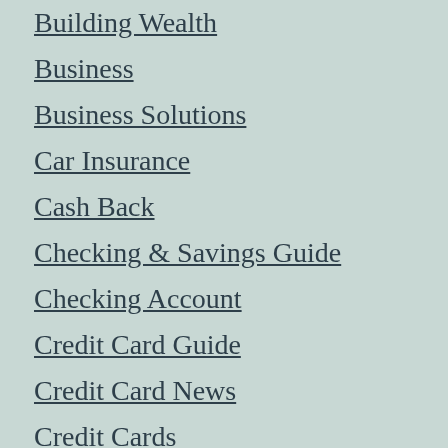Building Wealth
Business
Business Solutions
Car Insurance
Cash Back
Checking & Savings Guide
Checking Account
Credit Card Guide
Credit Card News
Credit Cards
Credit Repair
Crime and Safety
Debt
DIY